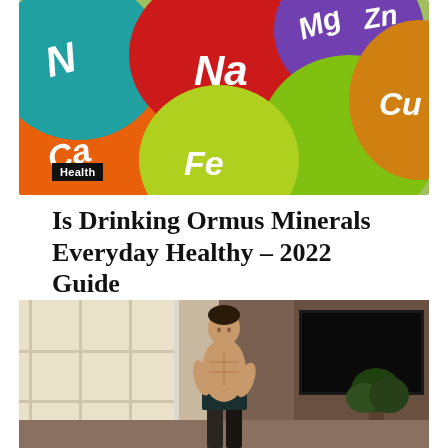[Figure (photo): Colorful balls with chemical element symbols: Na (sodium), Mg (magnesium), Zn (zinc), N (nitrogen), Ca (calcium), Cu (copper), Fe (iron) on a bright colored background]
Health
Is Drinking Ormus Minerals Everyday Healthy – 2022 Guide
Dawn Serrano – August 13, 2022
[Figure (photo): A fit shirtless man standing indoors near large windows with natural light, wearing dark shorts, with plants nearby and a dark TV screen in background]